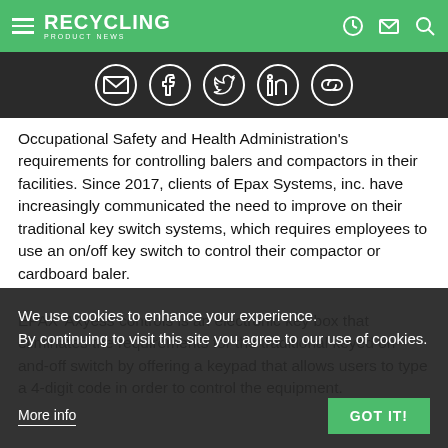RECYCLING PRODUCT NEWS
[Figure (infographic): Social sharing icons row: email, Facebook, Twitter, LinkedIn, link/chain — white outlined circle icons on dark background]
Occupational Safety and Health Administration's requirements for controlling balers and compactors in their facilities. Since 2017, clients of Epax Systems, inc. have increasingly communicated the need to improve on their traditional key switch systems, which requires employees to use an on/off key switch to control their compactor or cardboard baler.
EPAX' Axyess controls is an electronic key box that eliminates the requirements for the traditional keyed on-and-off switch by offering a keypad that allows users to type a 4-digit code in order to control the equipment.
We use cookies to enhance your experience. By continuing to visit this site you agree to our use of cookies.
More info
GOT IT!